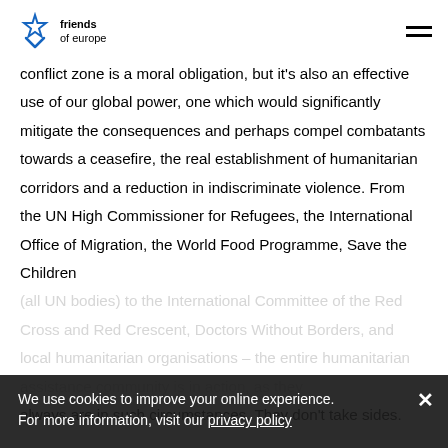friends of europe
conflict zone is a moral obligation, but it's also an effective use of our global power, one which would significantly mitigate the consequences and perhaps compel combatants towards a ceasefire, the real establishment of humanitarian corridors and a reduction in indiscriminate violence. From the UN High Commissioner for Refugees, the International Office of Migration, the World Food Programme, Save the Children (all UN bodies) to the International Committee of the Red Cross and Red Crescent, Doctors Without Borders, and local humanitarian organisations – the entire humanitarian assistance community is in action, as they always are in such circumstances. They don't take sides.
We use cookies to improve your online experience. For more information, visit our privacy policy